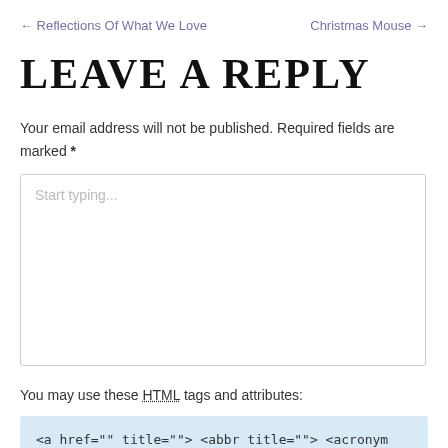← Reflections Of What We Love    Christmas Mouse →
Leave A Reply
Your email address will not be published. Required fields are marked *
Start typing...
You may use these HTML tags and attributes:
<a href="" title=""> <abbr title=""> <acronym title=""> <b>